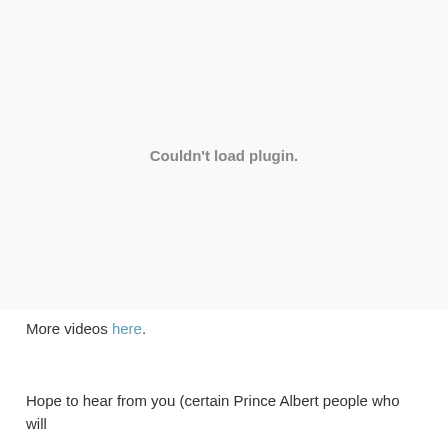[Figure (other): Embedded video plugin area showing 'Couldn't load plugin.' message in gray text]
More videos here.
Hope to hear from you (certain Prince Albert people who will